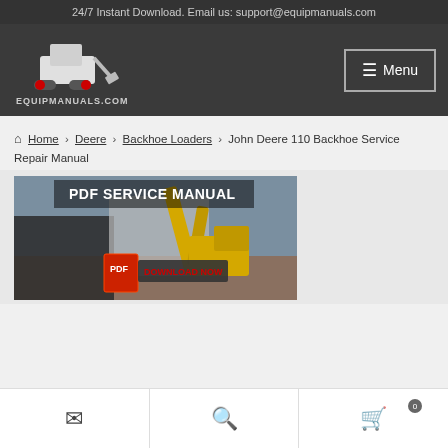24/7 Instant Download. Email us: support@equipmanuals.com
[Figure (logo): EquipManuals.com logo with skid steer loader illustration and text EQUIPMANUALS.COM]
Menu
Home › Deere › Backhoe Loaders › John Deere 110 Backhoe Service Repair Manual
[Figure (screenshot): PDF Service Manual product image showing a John Deere backhoe loader with text PDF SERVICE MANUAL and DOWNLOAD NOW button]
Email | Search | Cart (0)